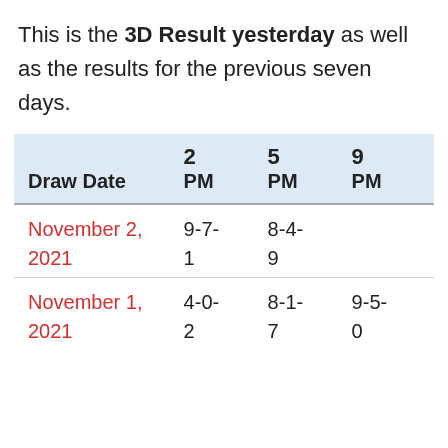This is the 3D Result yesterday as well as the results for the previous seven days.
| Draw Date | 2 PM | 5 PM | 9 PM |
| --- | --- | --- | --- |
| November 2, 2021 | 9-7-1 | 8-4-9 |  |
| November 1, 2021 | 4-0-2 | 8-1-7 | 9-5-0 |